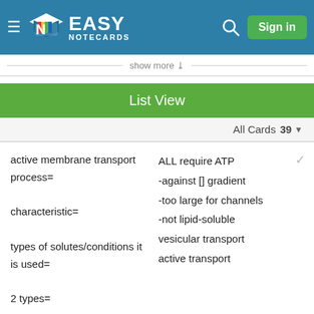Easy Notecards - Sign in
show more
List View
All Cards 39
| Front | Back |
| --- | --- |
| active membrane transport process=
characteristic=
types of solutes/conditions it is used=
2 types= | ALL require ATP
-against [] gradient
-too large for channels
-not lipid-soluble
vesicular transport
active transport |
| Front | Back |
| --- | --- |
| active transport | req. carrier proteins. |